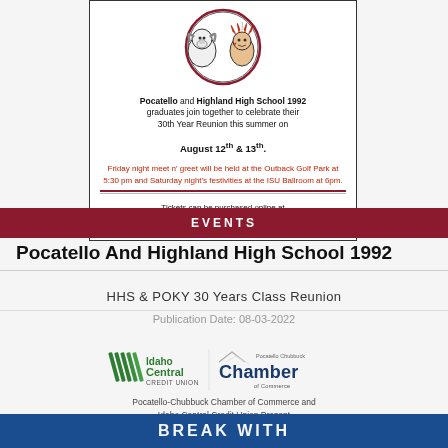[Figure (illustration): Advertisement box for Pocatello and Highland High School 1992 30th Year Reunion. Contains mascot logos (ram and Native American chief), event text in black and red, decorative dividers, and ticket purchase info.]
EVENTS
Pocatello And Highland High School 1992
HHS & POKY 30 Years Class Reunion
Publication Date: 08-03-2022
[Figure (logo): Idaho Central Credit Union and Pocatello Chubbuck Chamber of Commerce logos side by side]
Pocatello-Chubbuck Chamber of Commerce and Idaho Central Credit Union Present
[Figure (photo): Blue bar at bottom partially visible with large white bold text partially cut off]